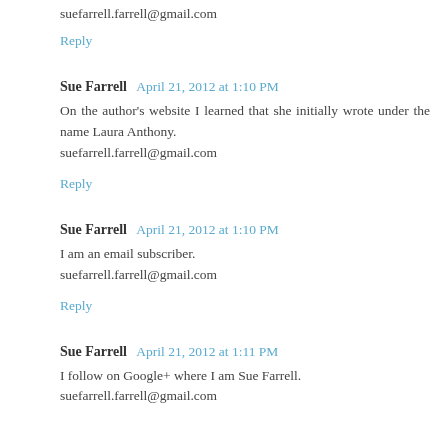suefarrell.farrell@gmail.com
Reply
Sue Farrell  April 21, 2012 at 1:10 PM
On the author's website I learned that she initially wrote under the name Laura Anthony.
suefarrell.farrell@gmail.com
Reply
Sue Farrell  April 21, 2012 at 1:10 PM
I am an email subscriber.
suefarrell.farrell@gmail.com
Reply
Sue Farrell  April 21, 2012 at 1:11 PM
I follow on Google+ where I am Sue Farrell.
suefarrell.farrell@gmail.com